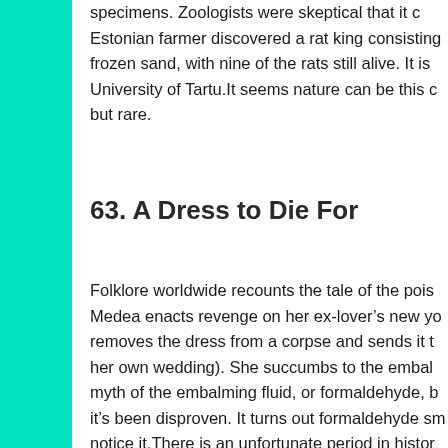specimens. Zoologists were skeptical that it c Estonian farmer discovered a rat king consisting frozen sand, with nine of the rats still alive. It is University of Tartu.It seems nature can be this c but rare.
63. A Dress to Die For
Folklore worldwide recounts the tale of the pois Medea enacts revenge on her ex-lover's new yo removes the dress from a corpse and sends it t her own wedding). She succumbs to the embal myth of the embalming fluid, or formaldehyde, b it's been disproven. It turns out formaldehyde sm notice it.There is an unfortunate period in histor laced dyes in many clothing items during the 19 were all the rage in high society ended up caus to endure painful blisters and, worse still, horrib